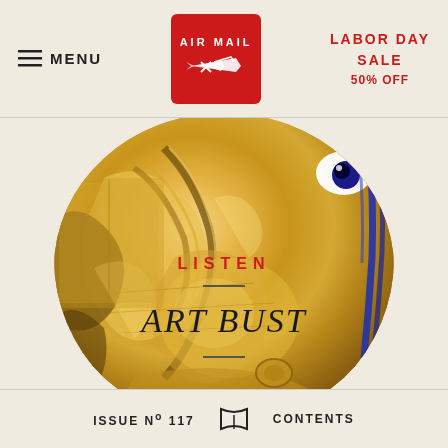MENU | AIR MAIL | LABOR DAY SALE 50% OFF
[Figure (photo): Close-up circular crop of a golden sculpture or bust with metallic gold surface and blue decorative elements, showing textured relief detail]
LISTEN
ART BUST
ISSUE No 117   CONTENTS